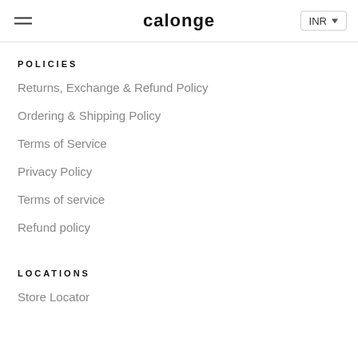calonge | INR
POLICIES
Returns, Exchange & Refund Policy
Ordering & Shipping Policy
Terms of Service
Privacy Policy
Terms of service
Refund policy
LOCATIONS
Store Locator